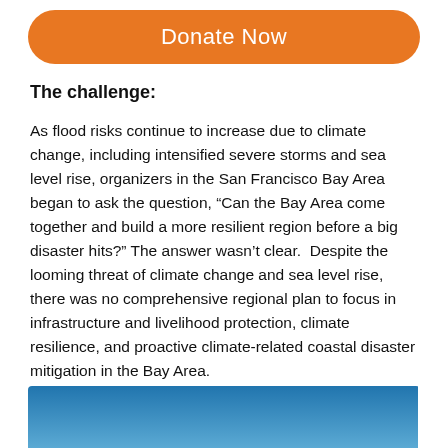[Figure (other): Orange rounded rectangle button with white text 'Donate Now']
The challenge:
As flood risks continue to increase due to climate change, including intensified severe storms and sea level rise, organizers in the San Francisco Bay Area began to ask the question, “Can the Bay Area come together and build a more resilient region before a big disaster hits?” The answer wasn’t clear. Despite the looming threat of climate change and sea level rise, there was no comprehensive regional plan to focus in infrastructure and livelihood protection, climate resilience, and proactive climate-related coastal disaster mitigation in the Bay Area.
[Figure (photo): Blue gradient sky image at the bottom of the page]